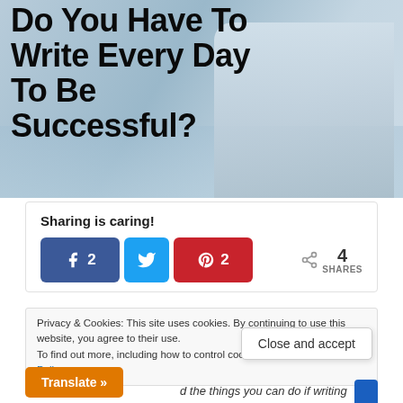[Figure (photo): Hero image of a woman sitting by water writing in a notebook, with large bold text overlay: 'Do You Have To Write Every Day To Be Successful?']
Do You Have To Write Every Day To Be Successful?
Sharing is caring!
[Figure (infographic): Social share buttons: Facebook (2), Twitter, Pinterest (2), plus a share count showing 4 SHARES]
Privacy & Cookies: This site uses cookies. By continuing to use this website, you agree to their use.
To find out more, including how to control cookies, see here: Cookie Policy
Close and accept
Translate »
d the things you can do if writing